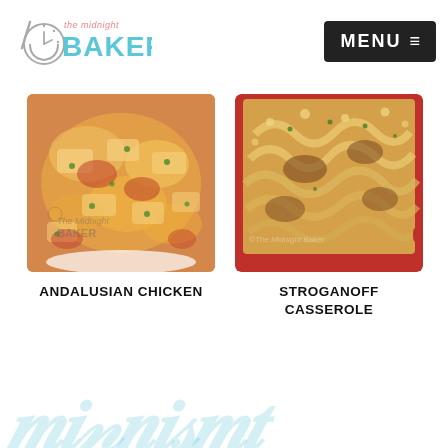[Figure (logo): The Midnight Baker logo with bowl and spoon icon on left, 'the midnight' in small text and 'BAKER' in large teal letters below]
[Figure (other): MENU button with hamburger icon in dark/black background]
[Figure (photo): Andalusian Chicken dish in a white round baking dish, topped with melted cheese and herbs, with The Midnight Baker watermark]
ANDALUSIAN CHICKEN
[Figure (photo): Stroganoff Casserole in a red baking dish with pasta, beef and breadcrumb topping]
STROGANOFF CASSEROLE
[Figure (other): Partial watermark text at bottom of page in light blue cursive]